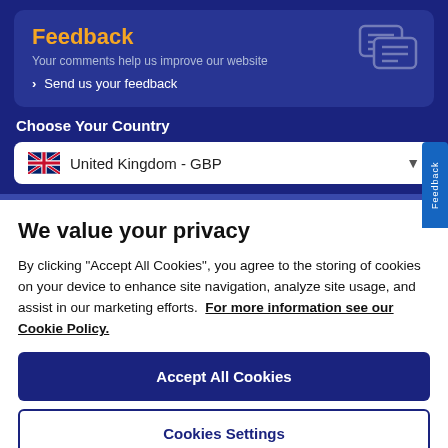Feedback
Your comments help us improve our website
> Send us your feedback
Choose Your Country
United Kingdom - GBP
We value your privacy
By clicking “Accept All Cookies”, you agree to the storing of cookies on your device to enhance site navigation, analyze site usage, and assist in our marketing efforts. For more information see our Cookie Policy.
Accept All Cookies
Cookies Settings